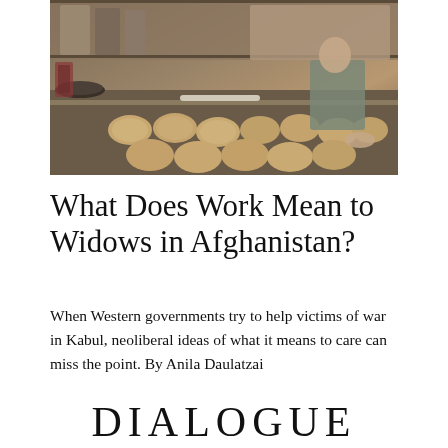[Figure (photo): A woman in military-style clothing sits on the floor of what appears to be a bakery or market stall in Kabul, Afghanistan, surrounded by many round flatbreads arranged on a surface. Cooking equipment and shelves with goods are visible in the background.]
What Does Work Mean to Widows in Afghanistan?
When Western governments try to help victims of war in Kabul, neoliberal ideas of what it means to care can miss the point. By Anila Daulatzai
DIALOGUE